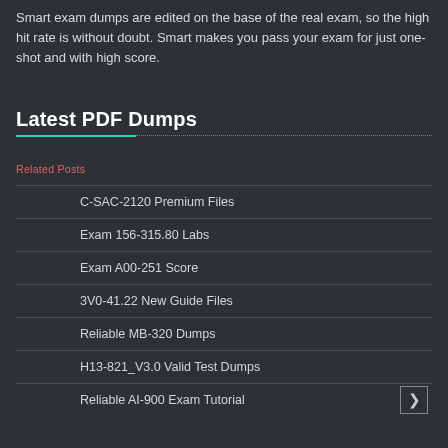Smart exam dumps are edited on the base of the real exam, so the high hit rate is without doubt. Smart makes you pass your exam for just one-shot and with high score.
Latest PDF Dumps
Related Posts
C-SAC-2120 Premium Files
Exam 156-315.80 Labs
Exam A00-251 Score
3V0-41.22 New Guide Files
Reliable MB-320 Dumps
H13-821_V3.0 Valid Test Dumps
Reliable AI-900 Exam Tutorial